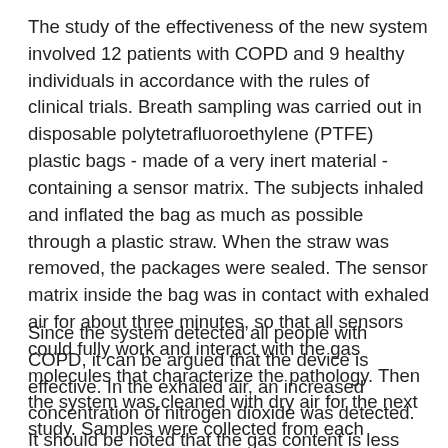The study of the effectiveness of the new system involved 12 patients with COPD and 9 healthy individuals in accordance with the rules of clinical trials. Breath sampling was carried out in disposable polytetrafluoroethylene (PTFE) plastic bags - made of a very inert material - containing a sensor matrix. The subjects inhaled and inflated the bag as much as possible through a plastic straw. When the straw was removed, the packages were sealed. The sensor matrix inside the bag was in contact with exhaled air for about three minutes, so that all sensors could fully work and interact with the gas molecules that characterize the pathology. Then the system was cleaned with dry air for the next study. Samples were collected from each participant with an interval of one hour.
Since the system detected all people with COPD, it can be argued that the device is effective. In the exhaled air, an increased concentration of nitrogen dioxide was detected. It should be noted that the gas content is less than one molecule per million molecules of the exhaled air, which indicates high sensitivity of the developed sensors.